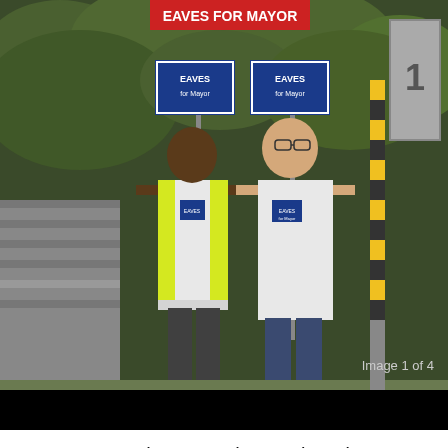[Figure (photo): Two people standing outdoors holding campaign signs. One wears a yellow safety vest and the other a white t-shirt. Signs appear to be for a mayoral campaign. Background shows trees and a stone wall. Lower portion of the image is black.]
Image 1 of 4
ATLANTA - John Eaves has resigned as Chairman of the Fulton County Commission to focus on his bid for Mayor of the City of Atlanta.